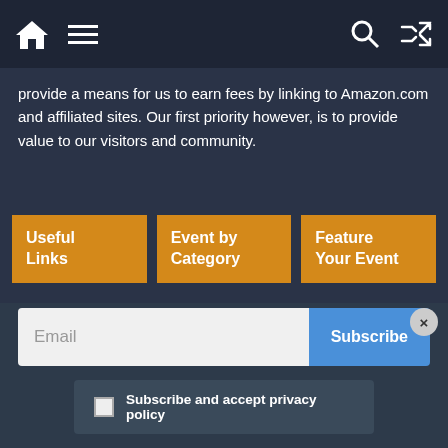Navigation bar with home, menu, search, and shuffle icons
provide a means for us to earn fees by linking to Amazon.com and affiliated sites. Our first priority however, is to provide value to our visitors and community.
Useful Links
Event by Category
Feature Your Event
Privacy Policy
Contact Us
Free Events
Free Mom Events
[Figure (illustration): Featured Events Coming Soon badge - circular peach badge with orange italic 'Featured' text, purple bold italic 'Events' text, and small 'COMING SOON' text]
Email
Subscribe
Subscribe and accept privacy policy